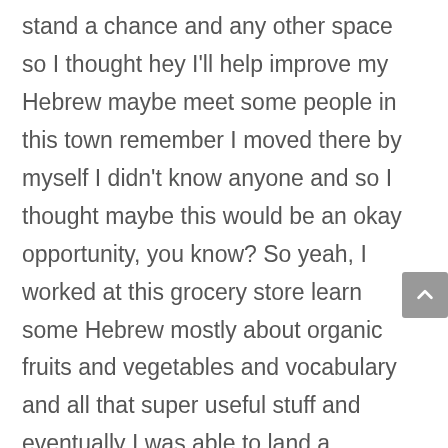stand a chance and any other space so I thought hey I'll help improve my Hebrew maybe meet some people in this town remember I moved there by myself I didn't know anyone and so I thought maybe this would be an okay opportunity, you know? So yeah, I worked at this grocery store learn some Hebrew mostly about organic fruits and vegetables and vocabulary and all that super useful stuff and eventually I was able to land a